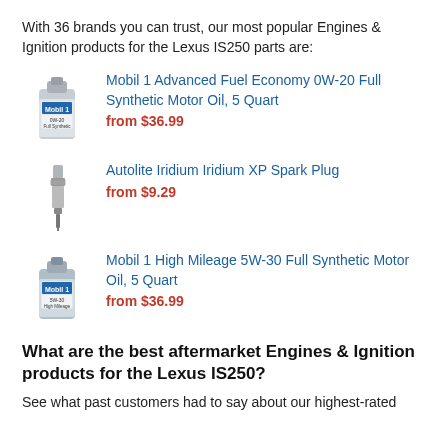With 36 brands you can trust, our most popular Engines & Ignition products for the Lexus IS250 parts are:
Mobil 1 Advanced Fuel Economy 0W-20 Full Synthetic Motor Oil, 5 Quart — from $36.99
Autolite Iridium Iridium XP Spark Plug — from $9.29
Mobil 1 High Mileage 5W-30 Full Synthetic Motor Oil, 5 Quart — from $36.99
What are the best aftermarket Engines & Ignition products for the Lexus IS250?
See what past customers had to say about our highest-rated